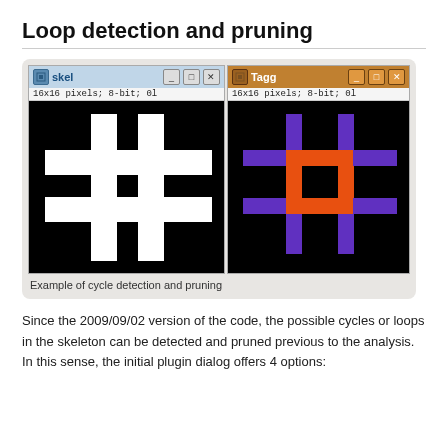Loop detection and pruning
[Figure (screenshot): Two side-by-side image windows. Left window titled 'skel' shows a white hash/pound symbol on black background (16x16 pixels, 8-bit). Right window titled 'Tagg' shows the same hash pattern with orange and purple/blue colored segments on black background, indicating cycle detection tagging.]
Example of cycle detection and pruning
Since the 2009/09/02 version of the code, the possible cycles or loops in the skeleton can be detected and pruned previous to the analysis. In this sense, the initial plugin dialog offers 4 options: